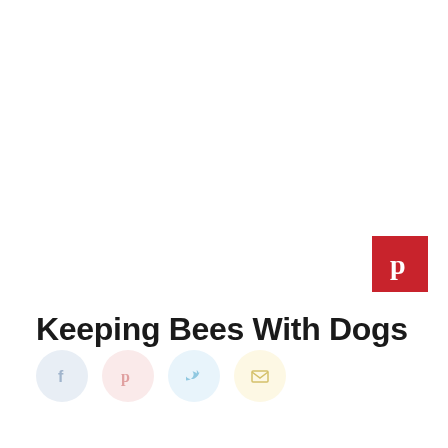[Figure (logo): Pinterest save button — red square with white P logo]
Keeping Bees With Dogs
[Figure (infographic): Row of four social share icon circles: Facebook (light blue), Pinterest (light pink), Twitter (light blue), Email (light yellow)]